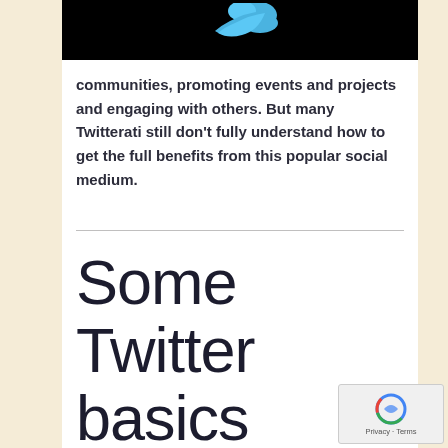[Figure (logo): Twitter bird logo on black background, partially cropped at top]
communities, promoting events and projects and engaging with others. But many Twitterati still don't fully understand how to get the full benefits from this popular social medium.
Some Twitter basics